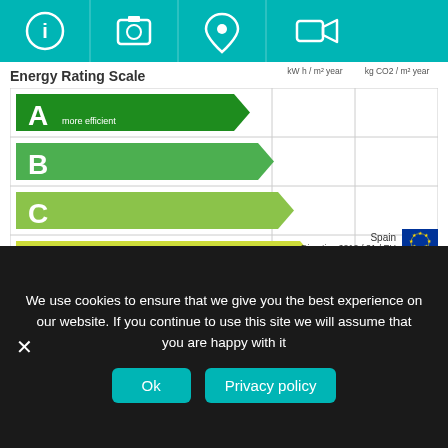[Figure (screenshot): Top navigation bar with teal background showing icons: info (i), camera, location pin, and video camera]
Energy Rating Scale
[Figure (infographic): Energy rating scale chart showing ratings A through G with colored arrow-shaped bars. A (dark green, more efficient), B (green), C (yellow-green), D (yellow), E (yellow-orange), F (orange), G (red, less efficient). Two columns on right: kW h / m² year and kg CO2 / m² year, both empty. Spain label and EU directive 2010/31/EU noted at bottom.]
Spain
Directive 2010 / 31 / EU
We use cookies to ensure that we give you the best experience on our website. If you continue to use this site we will assume that you are happy with it